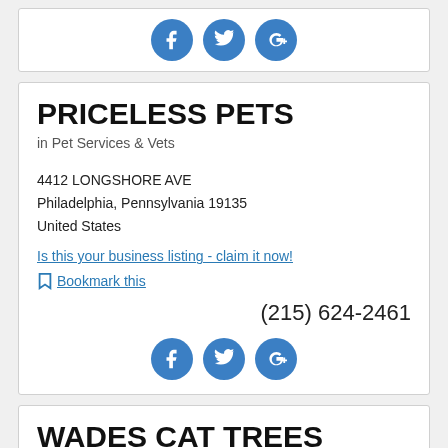[Figure (other): Social media icons (Facebook, Twitter, Google+) in blue circles at top of page]
PRICELESS PETS
in Pet Services & Vets
4412 LONGSHORE AVE
Philadelphia, Pennsylvania 19135
United States
Is this your business listing - claim it now!
Bookmark this
(215) 624-2461
[Figure (other): Social media icons (Facebook, Twitter, Google+) in blue circles]
WADES CAT TREES
in Pet Services & Vets